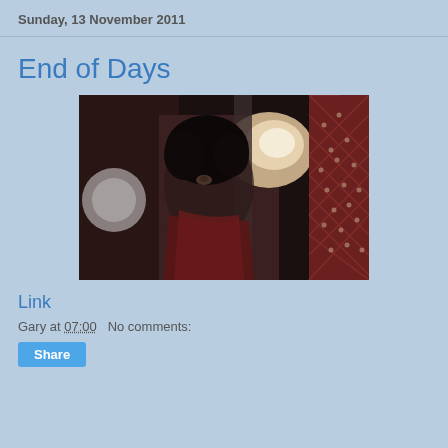Sunday, 13 November 2011
End of Days
[Figure (photo): A person with curly dark hair peering between two structures, wearing a dark red scarf. Dramatic cinematic lighting with a bright highlight in the background and a red latticed panel on the right.]
Link
Gary at 07:00   No comments:
Share